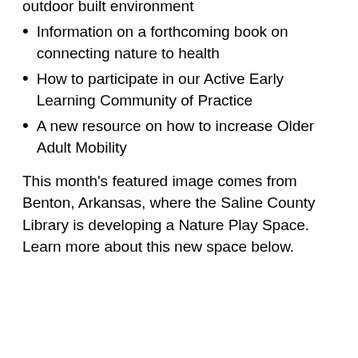outdoor built environment
Information on a forthcoming book on connecting nature to health
How to participate in our Active Early Learning Community of Practice
A new resource on how to increase Older Adult Mobility
This month's featured image comes from Benton, Arkansas, where the Saline County Library is developing a Nature Play Space. Learn more about this new space below.